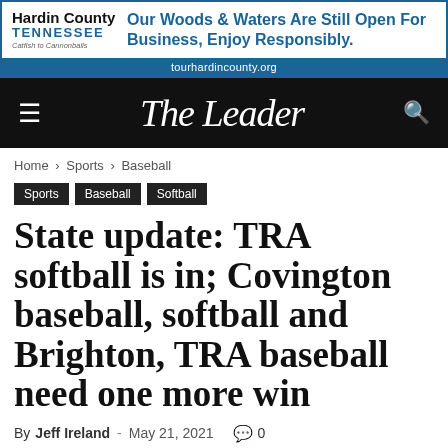[Figure (other): Hardin County Tennessee advertisement banner with logo and text: Our Woods & Waters Are Still Open For Business, Enjoy Responsibly. tourhardincounty.org]
The Leader
Home › Sports › Baseball
Sports
Baseball
Softball
State update: TRA softball is in; Covington baseball, softball and Brighton, TRA baseball need one more win
By Jeff Ireland - May 21, 2021 💬 0